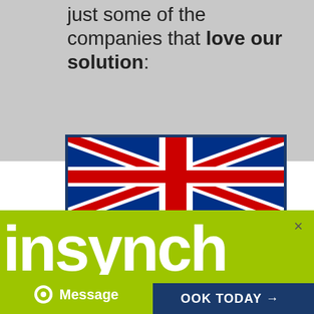just some of the companies that love our solution:
[Figure (illustration): Union Jack (UK flag) shown inside a bordered card with dark navy frame]
[Figure (logo): insynch 1-2-1 Sessions logo on lime green background with close X button]
BOOK A FREE CONSULTATION WITH OUR EXPERT
Emma is a Digital Marketing Expert who has delivered 100's of consultancy sessions to help businesses achieve a profitable digital marketing strategy
Message
OOK TODAY →